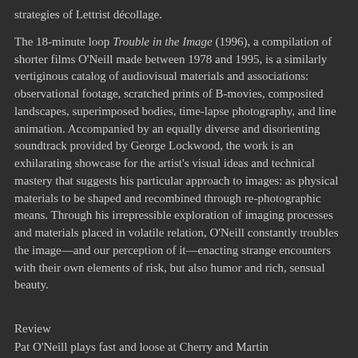strategies of Lettrist décollage.

The 18-minute loop Trouble in the Image (1996), a compilation of shorter films O'Neill made between 1978 and 1995, is a similarly vertiginous catalog of audiovisual materials and associations: observational footage, scratched prints of B-movies, composited landscapes, superimposed bodies, time-lapse photography, and line animation. Accompanied by an equally diverse and disorienting soundtrack provided by George Lockwood, the work is an exhilarating showcase for the artist's visual ideas and technical mastery that suggests his particular approach to images: as physical materials to be shaped and recombined through re-photographic means. Through his irrepressible exploration of imaging processes and materials placed in volatile relation, O'Neill constantly troubles the image—and our perception of it—enacting strange encounters with their own elements of risk, but also humor and rich, sensual beauty.
Review
Pat O'Neill plays fast and loose at Cherry and Martin
By David Pagel
LA Times 2015
If computers could dream, Pat O'Neill might be their